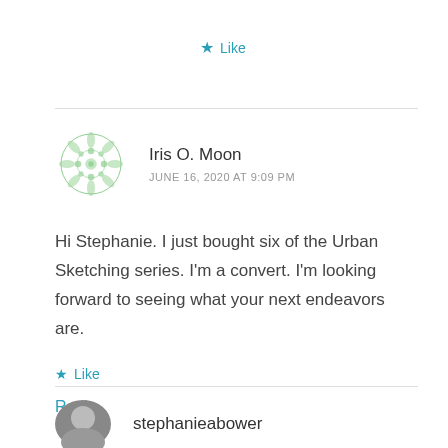★ Like
Iris O. Moon
JUNE 16, 2020 AT 9:09 PM
Hi Stephanie. I just bought six of the Urban Sketching series. I'm a convert. I'm looking forward to seeing what your next endeavors are.
★ Like
Reply
stephanieabower